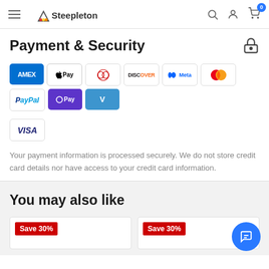Steepleton
Payment & Security
[Figure (logo): Payment method icons: AMEX, Apple Pay, Diners Club, Discover, Meta Pay, Mastercard, PayPal, OPay, Venmo, Visa]
Your payment information is processed securely. We do not store credit card details nor have access to your credit card information.
You may also like
[Figure (other): Two product card thumbnails each with 'Save 30%' badge in red]